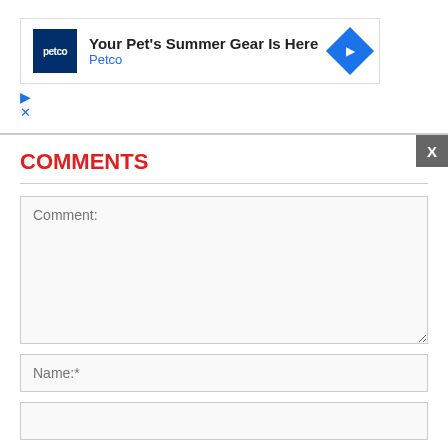[Figure (screenshot): Petco advertisement banner showing Petco logo, text 'Your Pet's Summer Gear Is Here', 'Petco' brand name in blue, and a blue navigation arrow icon]
COMMENTS
Comment:
Name:*